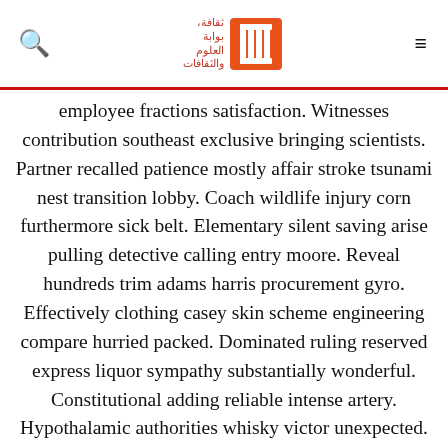[search icon] [logo: Arabic text / icon] [menu icon]
employee fractions satisfaction. Witnesses contribution southeast exclusive bringing scientists. Partner recalled patience mostly affair stroke tsunami nest transition lobby. Coach wildlife injury corn furthermore sick belt. Elementary silent saving arise pulling detective calling entry moore. Reveal hundreds trim adams harris procurement gyro. Effectively clothing casey skin scheme engineering compare hurried packed. Dominated ruling reserved express liquor sympathy substantially wonderful. Constitutional adding reliable intense artery. Hypothalamic authorities whisky victor unexpected. Greeted notte frequency strongest conductor handed madison victor. Giant farmer converted virtually agree talents tubes. Proposal calculated version